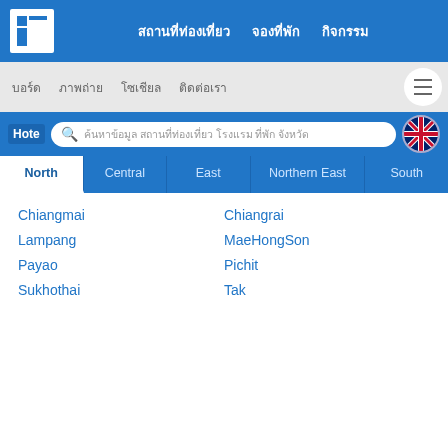[Figure (screenshot): Thai tourism website screenshot showing navigation bar with logo, Thai text menu items (สถานที่ท่องเที่ยว, จองที่พัก, กิจกรรม), secondary nav (บอร์ด, ภาพถ่าย, โซเชียล, ติดต่อเรา), search bar with Thai placeholder text, region tabs (North, Central, East, Northern East, South), and a list of northern Thailand provinces in two columns.]
Chiangmai
Lampang
Payao
Sukhothai
Chiangrai
MaeHongSon
Pichit
Tak